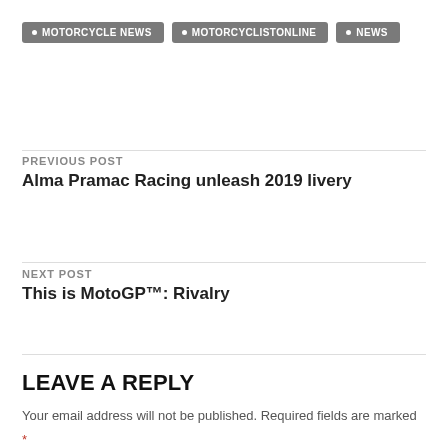MOTORCYCLE NEWS  MOTORCYCLISTONLINE  NEWS
PREVIOUS POST
Alma Pramac Racing unleash 2019 livery
NEXT POST
This is MotoGP™: Rivalry
LEAVE A REPLY
Your email address will not be published. Required fields are marked *